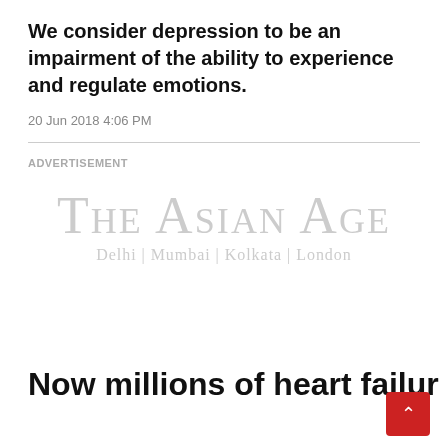We consider depression to be an impairment of the ability to experience and regulate emotions.
20 Jun 2018 4:06 PM
ADVERTISEMENT
[Figure (logo): The Asian Age newspaper logo with tagline 'Delhi | Mumbai | Kolkata | London']
Now millions of heart failure